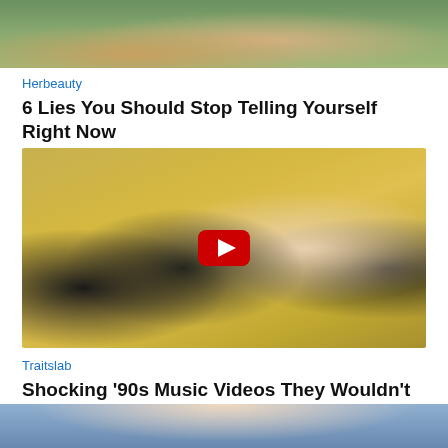[Figure (photo): Partial top image of an article thumbnail, cropped showing lower portion of a nature/person scene]
Herbeauty
6 Lies You Should Stop Telling Yourself Right Now
[Figure (photo): Group photo of four people in a band/music video style scene with a YouTube play button overlay. A woman in a nurse costume poses with three shirtless tattooed men against a yellow background.]
Traitslab
Shocking '90s Music Videos They Wouldn't Get Away With Today
[Figure (photo): Partial bottom image of another article thumbnail, cropped showing top portion of a person with blonde hair]